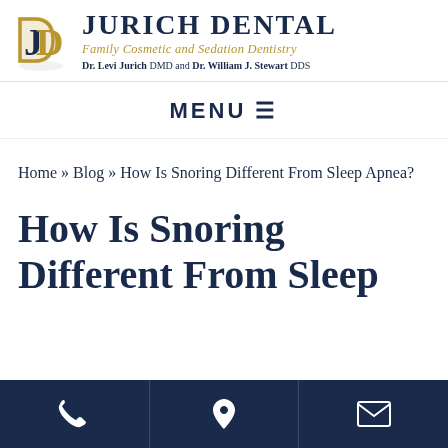[Figure (logo): Jurich Dental logo with stylized JD lettermark in gold/navy, dental practice name and tagline]
MENU ≡
Home » Blog » How Is Snoring Different From Sleep Apnea?
How Is Snoring Different From Sleep
[Figure (infographic): Bottom navigation bar with phone, location pin, and envelope icons on dark navy background]